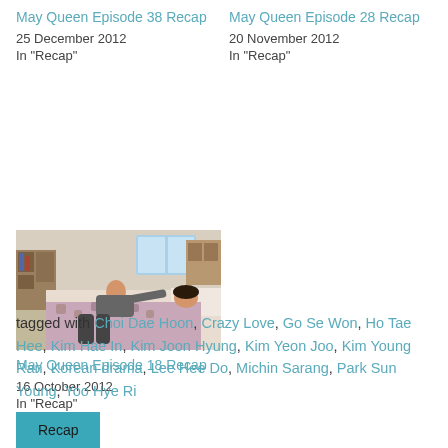May Queen Episode 38 Recap
25 December 2012
In "Recap"
May Queen Episode 28 Recap
20 November 2012
In "Recap"
[Figure (photo): A person leaning over someone lying in a bed, covered with a patterned blanket, in an indoor room setting.]
May Queen Episode 18 Recap
16 October 2012
In "Recap"
tagged with Choi Dae Hoon, Crazy Love, Go Se Won, Ho Tae Hee, Kim Hae In, Kim Joon Hyung, Kim Yeon Joo, Kim Young Ran, Korean drama, Lee Hee Do, Michin Sarang, Park Sun Young, Yoo Hye Ri
Recap